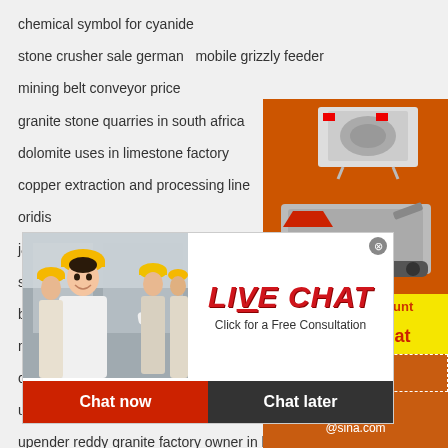chemical symbol for cyanide
stone crusher sale german   mobile grizzly feeder
mining belt conveyor price
granite stone quarries in south africa
dolomite uses in limestone factory
copper extraction and processing line
oridis...
jaw cr...
stone...
brazil...
mozambique coal mining informations
cement mill plug and grind   lime grinding mill...
uk coal deep mining
upender reddy granite factory owner in khamm... jordan
jack hammer crusher for caroline crushing
impact crusher directory
[Figure (infographic): Orange sidebar with mining machinery images, Enjoy 3% discount / Click to Chat button, Enquiry section, limingjlmofen@sina.com email]
[Figure (infographic): Live Chat overlay popup with people wearing hard hats, LIVE CHAT heading in red italic, Click for a Free Consultation text, Chat now and Chat later buttons]